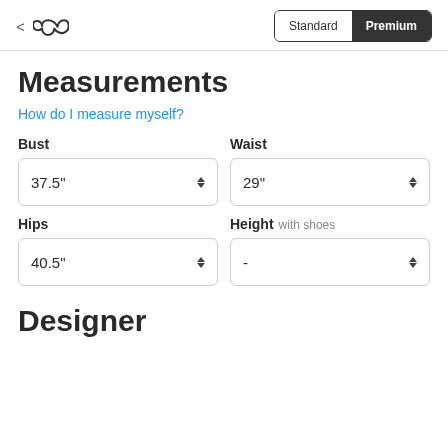< [logo] Standard | Premium
Measurements
How do I measure myself?
Bust
37.5"
Waist
29"
Hips
40.5"
Height with shoes
-
Designer